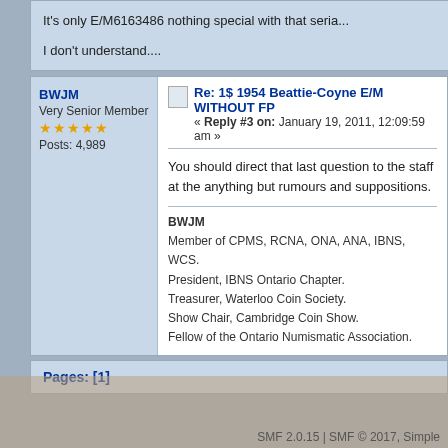It's only E/M6163486 nothing special with that seria...

I don't understand....
BWJM
Very Senior Member
Posts: 4,989
Re: 1$ 1954 Beattie-Coyne E/M WITHOUT FP...
« Reply #3 on: January 19, 2011, 12:09:59 am »
You should direct that last question to the staff at the... anything but rumours and suppositions.
BWJM
Member of CPMS, RCNA, ONA, ANA, IBNS, WCS.
President, IBNS Ontario Chapter.
Treasurer, Waterloo Coin Society.
Show Chair, Cambridge Coin Show.
Fellow of the Ontario Numismatic Association.
Pages: [1]
SMF 2.0.15 | SMF © 2017, Simple